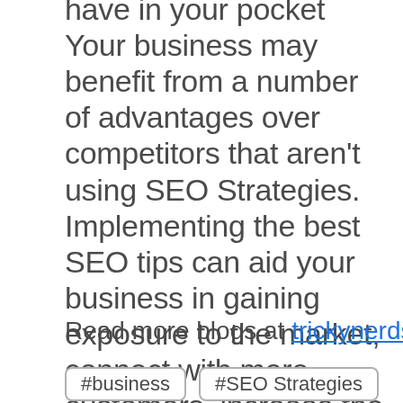have in your pocket Your business may benefit from a number of advantages over competitors that aren't using SEO Strategies. Implementing the best SEO tips can aid your business in gaining exposure to the market, connect with more customers, increase the overall brand recognition of your business and more. Make sure to post on your company's blog regularly, gaining the specifics of SEO and social media use as well, and fixing any issues with your website today.
Read more blogs at trickynerds
#business
#SEO Strategies